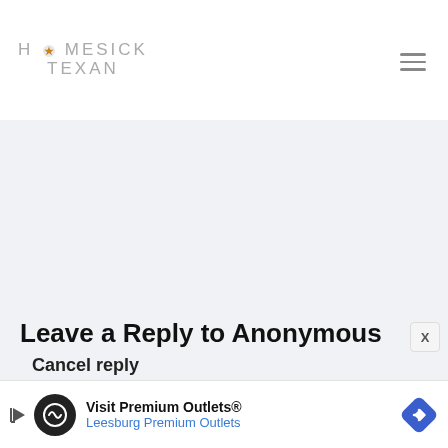HOMESICK TEXAN
Leave a Reply to Anonymous
Cancel reply
Your email address will not be published. Required fields are marked *
Recipe Rating
[Figure (infographic): Advertisement banner: Visit Premium Outlets® Leesburg Premium Outlets with logo and navigation arrow]
Visit Premium Outlets® Leesburg Premium Outlets